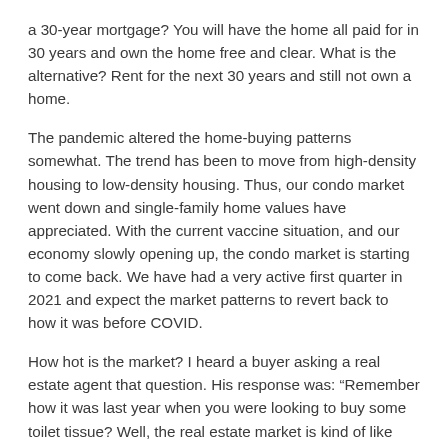a 30-year mortgage? You will have the home all paid for in 30 years and own the home free and clear. What is the alternative? Rent for the next 30 years and still not own a home.
The pandemic altered the home-buying patterns somewhat. The trend has been to move from high-density housing to low-density housing. Thus, our condo market went down and single-family home values have appreciated. With the current vaccine situation, and our economy slowly opening up, the condo market is starting to come back. We have had a very active first quarter in 2021 and expect the market patterns to revert back to how it was before COVID.
How hot is the market? I heard a buyer asking a real estate agent that question. His response was: “Remember how it was last year when you were looking to buy some toilet tissue? Well, the real estate market is kind of like that right now!”
Seriously though, when buying a home, there are a lot of costs including the down payment, loan fees, title and escrow charges, moving expenses, and furnishing the home. In addition, there will be ongoing expenses, such as the mortgage, property taxes,